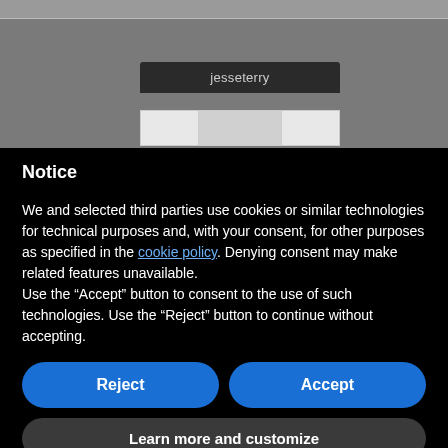[Figure (screenshot): Top portion of a website/app interface showing a grey background with username 'jesseterry' displayed in a dark box and input fields below]
Notice
We and selected third parties use cookies or similar technologies for technical purposes and, with your consent, for other purposes as specified in the cookie policy. Denying consent may make related features unavailable.
Use the “Accept” button to consent to the use of such technologies. Use the “Reject” button to continue without accepting.
Reject
Accept
Learn more and customize